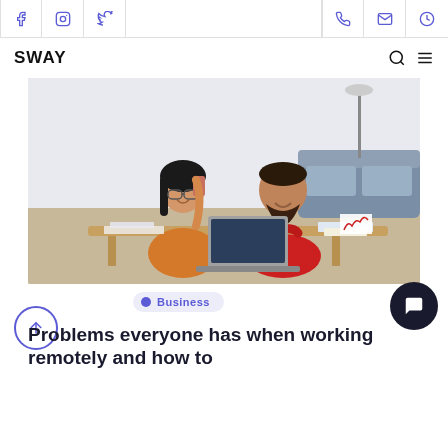SWAY — navigation bar with social icons (Facebook, Instagram, Twitter) and utility icons (phone, email, clock), logo SWAY, search and menu icons
[Figure (photo): Two people smiling and working together at a wooden desk with a laptop open between them. Woman in orange sweater holding a phone, man in red shirt. Modern apartment background with plant and gray sofa.]
Business
Problems everyone has when working remotely and how to